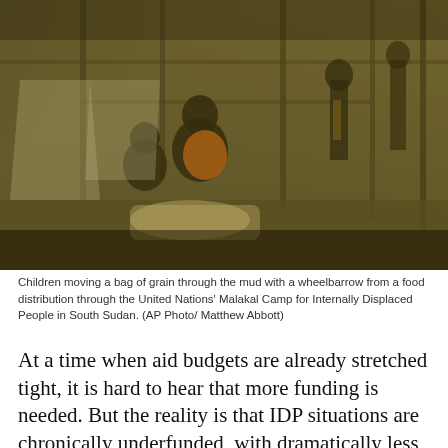[Figure (photo): Children moving a bag of grain through the mud with a wheelbarrow from a food distribution through the United Nations' Malakal Camp for Internally Displaced People in South Sudan. Olive/brown toned photograph showing children and adults near wooden shelter structures.]
Children moving a bag of grain through the mud with a wheelbarrow from a food distribution through the United Nations' Malakal Camp for Internally Displaced People in South Sudan. (AP Photo/ Matthew Abbott)
At a time when aid budgets are already stretched tight, it is hard to hear that more funding is needed. But the reality is that IDP situations are chronically underfunded, with dramatically less spent in